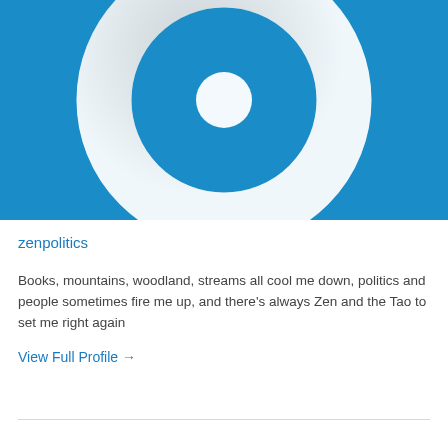[Figure (logo): Blue background with white concentric circles forming a target/Gravatar-style logo icon]
zenpolitics
Books, mountains, woodland, streams all cool me down, politics and people sometimes fire me up, and there's always Zen and the Tao to set me right again
View Full Profile →